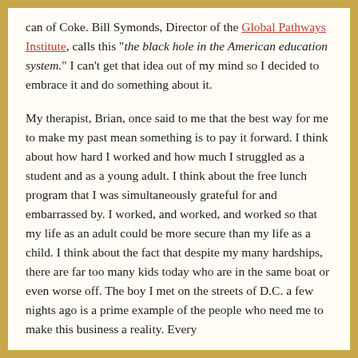can of Coke. Bill Symonds, Director of the Global Pathways Institute, calls this "the black hole in the American education system." I can't get that idea out of my mind so I decided to embrace it and do something about it.

My therapist, Brian, once said to me that the best way for me to make my past mean something is to pay it forward. I think about how hard I worked and how much I struggled as a student and as a young adult. I think about the free lunch program that I was simultaneously grateful for and embarrassed by. I worked, and worked, and worked so that my life as an adult could be more secure than my life as a child. I think about the fact that despite my many hardships, there are far too many kids today who are in the same boat or even worse off. The boy I met on the streets of D.C. a few nights ago is a prime example of the people who need me to make this business a reality. Every